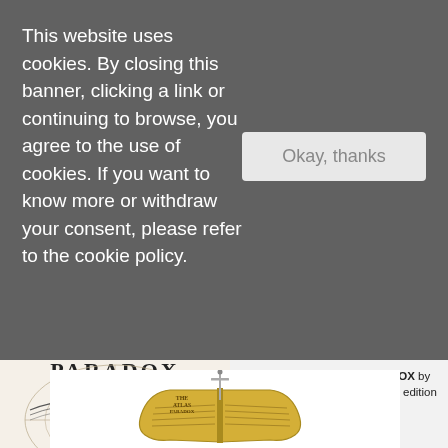This website uses cookies. By closing this banner, clicking a link or continuing to browse, you agree to the use of cookies. If you want to know more or withdraw your consent, please refer to the cookie policy.
Okay, thanks
[Figure (illustration): Book cover of 'The Atlas Paradox' by Olivie Blake showing geometric circle diagrams on cream background with text 'DESTINY IS A CHOICE' and 'PARADOX' visible]
Pre-order THE ATLAS PARADOX by Olivie Blake to receive a limited edition pin!
US/CAN
Ends 10/24
CLICK FOR DETAILS
[Figure (photo): A limited edition pin in the shape of an open book with a sword, styled as 'The Atlas Paradox' book pin with gold coloring and text on pages]